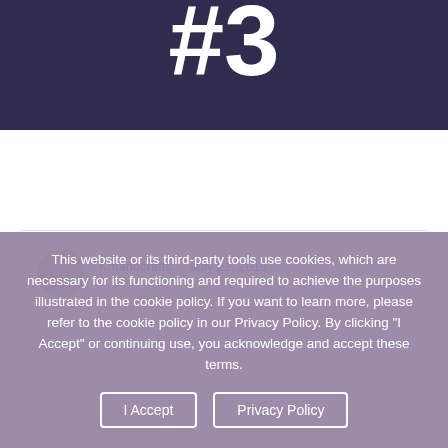#3
[Figure (illustration): White blank area below dark header, representing page content area]
Kmariocrafts · July 22, 2018
This website or its third-party tools use cookies, which are necessary for its functioning and required to achieve the purposes illustrated in the cookie policy. If you want to learn more, please refer to the cookie policy in our Privacy Policy. By clicking "I Accept" or continuing use, you acknowledge and accept these terms.
I Accept
Privacy Policy